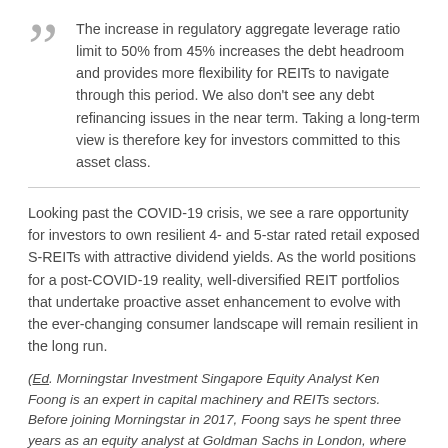The increase in regulatory aggregate leverage ratio limit to 50% from 45% increases the debt headroom and provides more flexibility for REITs to navigate through this period. We also don't see any debt refinancing issues in the near term. Taking a long-term view is therefore key for investors committed to this asset class.
Looking past the COVID-19 crisis, we see a rare opportunity for investors to own resilient 4- and 5-star rated retail exposed S-REITs with attractive dividend yields. As the world positions for a post-COVID-19 reality, well-diversified REIT portfolios that undertake proactive asset enhancement to evolve with the ever-changing consumer landscape will remain resilient in the long run.
(Ed. Morningstar Investment Singapore Equity Analyst Ken Foong is an expert in capital machinery and REITs sectors. Before joining Morningstar in 2017, Foong says he spent three years as an equity analyst at Goldman Sachs in London, where he covered the European steel